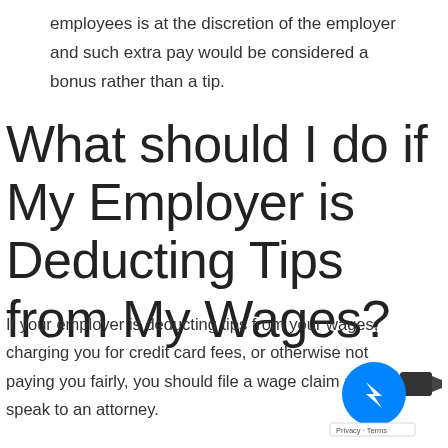employees is at the discretion of the employer and such extra pay would be considered a bonus rather than a tip.
What should I do if My Employer is Deducting Tips from My Wages?
If your employer is deducting tips from your wages, charging you for credit card fees, or otherwise not paying you fairly, you should file a wage claim and speak to an attorney.
[Figure (illustration): Facebook Messenger chat widget button (blue circle with white lightning bolt icon) and a video call icon, with a Privacy · Terms bar below]